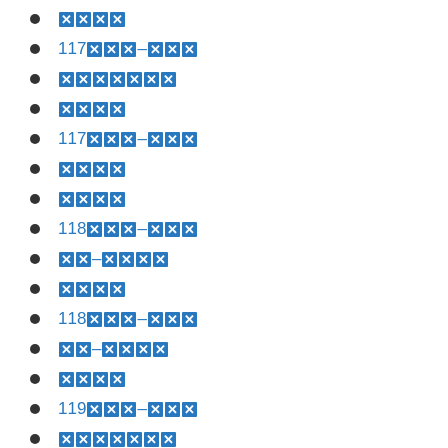████
117████–███
███████
████
117████–███
████
████
118████–███
██–█████
████
118████–███
██–█████
████
119████–███
███████
████